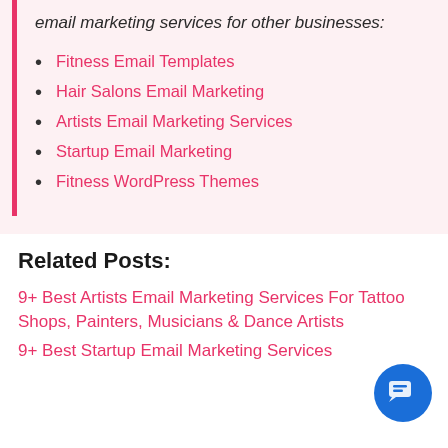email marketing services for other businesses:
Fitness Email Templates
Hair Salons Email Marketing
Artists Email Marketing Services
Startup Email Marketing
Fitness WordPress Themes
Related Posts:
9+ Best Artists Email Marketing Services For Tattoo Shops, Painters, Musicians & Dance Artists
9+ Best Startup Email Marketing Services